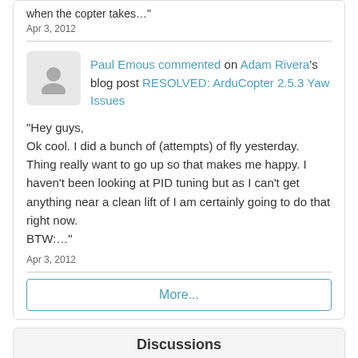when the copter takes…"
Apr 3, 2012
Paul Emous commented on Adam Rivera's blog post RESOLVED: ArduCopter 2.5.3 Yaw Issues
"Hey guys,
Ok cool. I did a bunch of (attempts) of fly yesterday. Thing really want to go up so that makes me happy. I haven't been looking at PID tuning but as I can't get anything near a clean lift of I am certainly going to do that right now.
BTW:…"
Apr 3, 2012
More...
Discussions